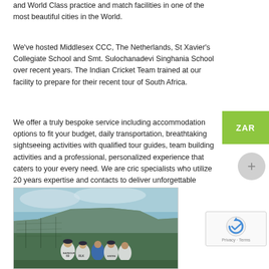and World Class practice and match facilities in one of the most beautiful cities in the World.
We've hosted Middlesex CCC, The Netherlands, St Xavier's Collegiate School and Smt. Sulochanadevi Singhania School over recent years. The Indian Cricket Team trained at our facility to prepare for their recent tour of South Africa.
We offer a truly bespoke service including accommodation options to fit your budget, daily transportation, breathtaking sightseeing activities with qualified tour guides, team building activities and a professional, personalized experience that caters to your every need. We are cric specialists who utilize 20 years expertise and contacts to deliver unforgettable experiences.
[Figure (photo): Cricket team huddle in front of Table Mountain, Cape Town. Players wearing white cricket uniforms with 'BAYBOUR 69', 'RLK', 'KRITIN' visible on jerseys. A coach in blue shirt addresses the group.]